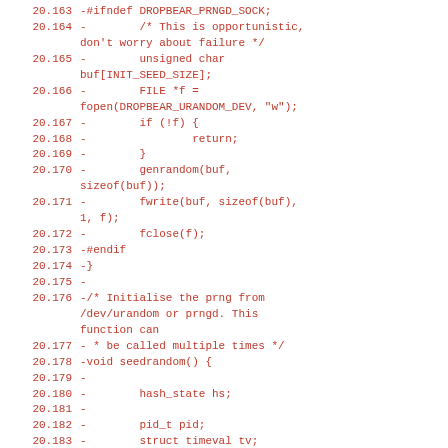Code diff showing lines 20.163–20.185 of a C source file (Dropbear SSH), removed lines indicated by '-' prefix, in monospace red font.